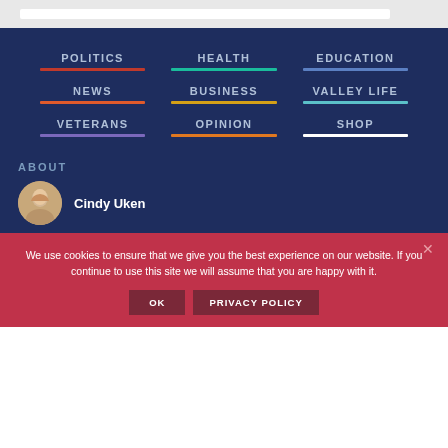POLITICS
HEALTH
EDUCATION
NEWS
BUSINESS
VALLEY LIFE
VETERANS
OPINION
SHOP
ABOUT
Cindy Uken
We use cookies to ensure that we give you the best experience on our website. If you continue to use this site we will assume that you are happy with it.
OK   PRIVACY POLICY